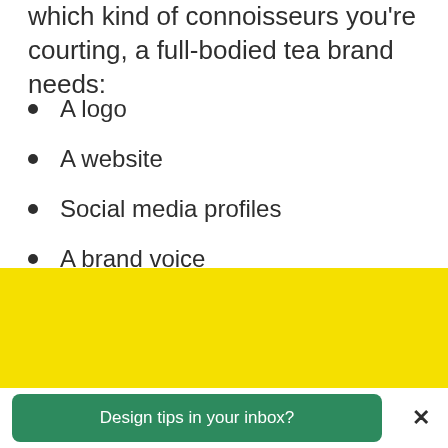which kind of connoisseurs you're courting, a full-bodied tea brand needs:
A logo
A website
Social media profiles
A brand voice
Packaging design
[Figure (other): Yellow promotional banner background]
Design tips in your inbox?
×